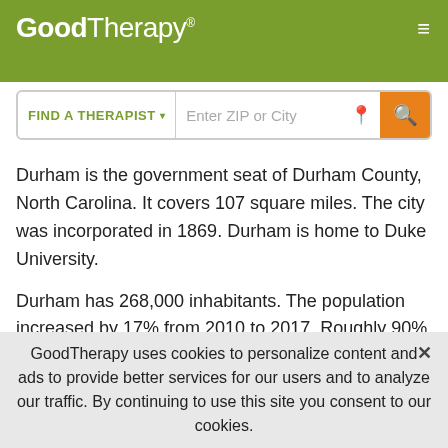GoodTherapy®
Durham is the government seat of Durham County, North Carolina. It covers 107 square miles. The city was incorporated in 1869. Durham is home to Duke University.
Durham has 268,000 inhabitants. The population increased by 17% from 2010 to 2017. Roughly 90% of people in the city are United States citizens. Over 12,000 military veterans live in Durham.
The racial composition of Durham is 39% white, 38% black, 14% Hispanic, and 5% Asian. Foreign-born people account for
GoodTherapy uses cookies to personalize content and ads to provide better services for our users and to analyze our traffic. By continuing to use this site you consent to our cookies.